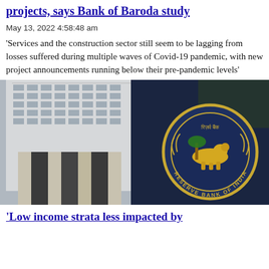projects, says Bank of Baroda study
May 13, 2022 4:58:48 am
'Services and the construction sector still seem to be lagging from losses suffered during multiple waves of Covid-19 pandemic, with new project announcements running below their pre-pandemic levels'
[Figure (photo): Composite image showing a modern multi-story building exterior on the left and the Reserve Bank of India emblem/seal on the right against a dark blue background]
'Low income strata less impacted by...